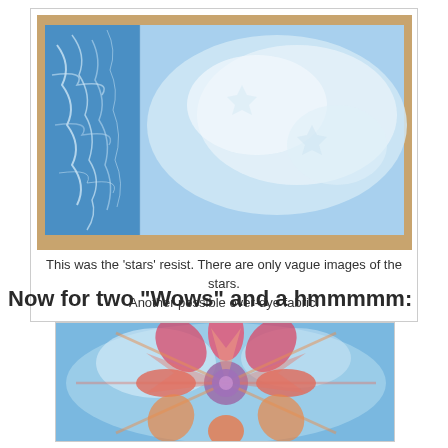[Figure (photo): A piece of blue and white tie-dye or resist-dyed fabric laid flat on a wooden floor. The left portion is deeper blue with crinkled white resist lines, and the right portion fades to a lighter, cloudier blue-white pattern.]
This was the 'stars' resist. There are only vague images of the stars. Another possible over-dye fabric.
Now for two "Wows" and a hmmmmm:
[Figure (photo): A colorful tie-dye fabric showing a kaleidoscopic starburst pattern with red, orange, pink, purple, and blue colors radiating from the center against a blue background.]